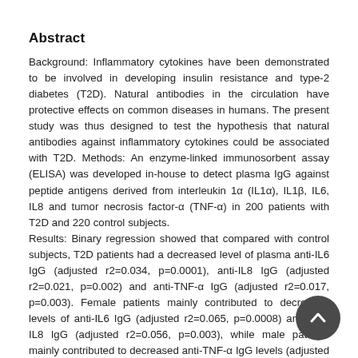Abstract
Background: Inflammatory cytokines have been demonstrated to be involved in developing insulin resistance and type-2 diabetes (T2D). Natural antibodies in the circulation have protective effects on common diseases in humans. The present study was thus designed to test the hypothesis that natural antibodies against inflammatory cytokines could be associated with T2D. Methods: An enzyme-linked immunosorbent assay (ELISA) was developed in-house to detect plasma IgG against peptide antigens derived from interleukin 1α (IL1α), IL1β, IL6, IL8 and tumor necrosis factor-α (TNF-α) in 200 patients with T2D and 220 control subjects.
Results: Binary regression showed that compared with control subjects, T2D patients had a decreased level of plasma anti-IL6 IgG (adjusted r2=0.034, p=0.0001), anti-IL8 IgG (adjusted r2=0.021, p=0.002) and anti-TNF-α IgG (adjusted r2=0.017, p=0.003). Female patients mainly contributed to decreased levels of anti-IL6 IgG (adjusted r2=0.065, p=0.0008) and anti-IL8 IgG (adjusted r2=0.056, p=0.003), while male patients mainly contributed to decreased anti-TNF-α IgG levels (adjusted